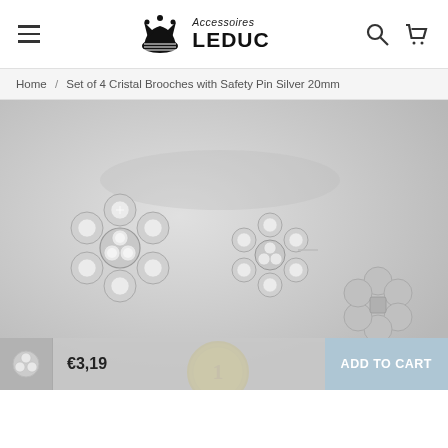Accessoires LEDUC
Home / Set of 4 Cristal Brooches with Safety Pin Silver 20mm
[Figure (photo): Product photo showing crystal flower brooches with safety pins on grey background, with a 1 euro coin for scale. Three brooches visible from front and back views, silver colored with clear crystal rhinestones in a flower pattern.]
€3,19  ADD TO CART